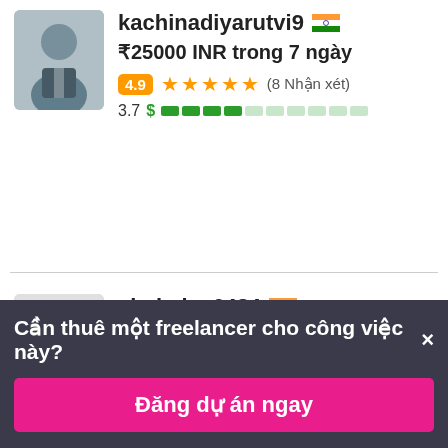kachinadiyarutvi9 🇮🇳
₹25000 INR trong 7 ngày
4.9 ★★★★★ (8 Nhận xét)
3.7 $ ████░░░░░░
shahajay6434 🇮🇳
₹25000 INR trong 7 ngày
5.0 ★★★★★ (3 Nhận xét)
3.3 $ ███░░░░░░░
Cần thuê một freelancer cho công việc này? ×
Đăng dự án ngay